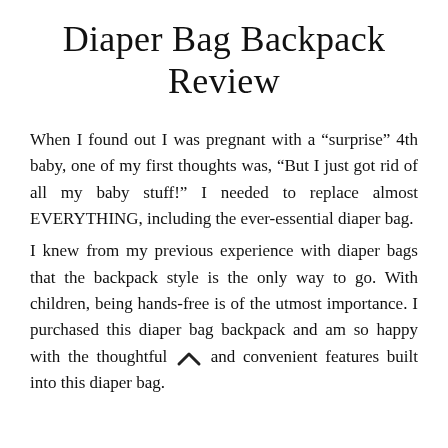Diaper Bag Backpack Review
When I found out I was pregnant with a “surprise” 4th baby, one of my first thoughts was, “But I just got rid of all my baby stuff!” I needed to replace almost EVERYTHING, including the ever-essential diaper bag.
I knew from my previous experience with diaper bags that the backpack style is the only way to go. With children, being hands-free is of the utmost importance. I purchased this diaper bag backpack and am so happy with the thoughtful and convenient features built into this diaper bag.